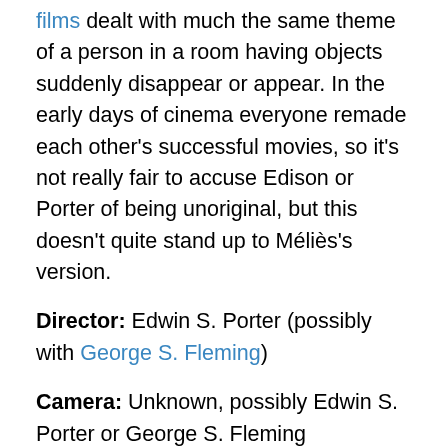films dealt with much the same theme of a person in a room having objects suddenly disappear or appear. In the early days of cinema everyone remade each other's successful movies, so it's not really fair to accuse Edison or Porter of being unoriginal, but this doesn't quite stand up to Méliès's version.
Director: Edwin S. Porter (possibly with George S. Fleming)
Camera: Unknown, possibly Edwin S. Porter or George S. Fleming
Starring: Unknown
Run Time: 1 Min
You can watch it for free: here (no music).